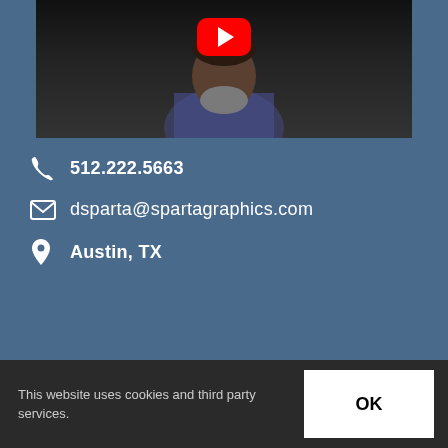[Figure (screenshot): YouTube video thumbnail showing a man with a beard wearing a checkered shirt, with a red YouTube play button overlay in the upper center]
512.222.5663
dsparta@spartagraphics.com
Austin, TX
Sales
This website uses cookies and third party services.
OK